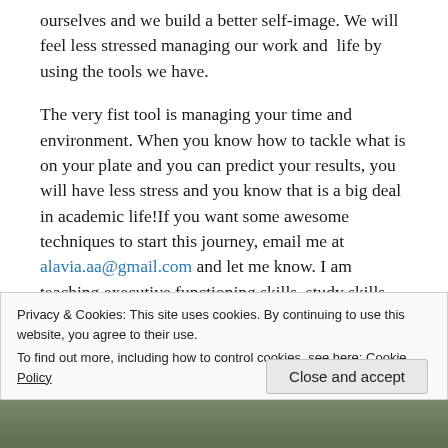ourselves and we build a better self-image. We will feel less stressed managing our work and life by using the tools we have.
The very fist tool is managing your time and environment. When you know how to tackle what is on your plate and you can predict your results, you will have less stress and you know that is a big deal in academic life!If you want some awesome techniques to start this journey, email me at alavia.aa@gmail.com and let me know. I am teaching executive functioning skills, study skills and youth leadership skills for many years and I know what a
Privacy & Cookies: This site uses cookies. By continuing to use this website, you agree to their use. To find out more, including how to control cookies, see here: Cookie Policy
Close and accept
[Figure (photo): Photo strip at the bottom of the page showing outdoor/nature scenery]